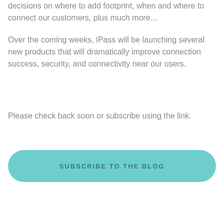decisions on where to add footprint, when and where to connect our customers, plus much more…
Over the coming weeks, iPass will be launching several new products that will dramatically improve connection success, security, and connectivity near our users.
Please check back soon or subscribe using the link.
SUBSCRIBE TO THE BLOG